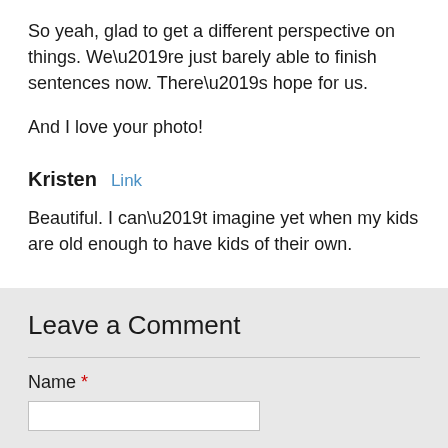So yeah, glad to get a different perspective on things. We’re just barely able to finish sentences now. There’s hope for us.
And I love your photo!
Kristen  Link
Beautiful. I can’t imagine yet when my kids are old enough to have kids of their own.
Leave a Comment
Name *